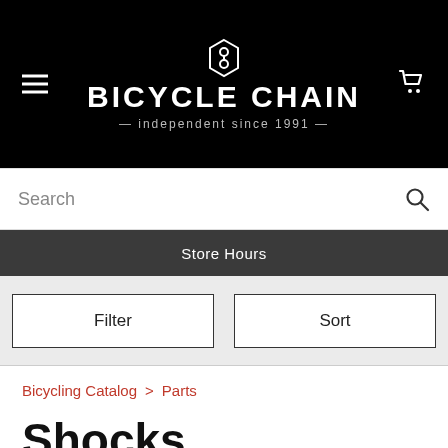BICYCLE CHAIN — independent since 1991 —
Search
Store Hours
Filter
Sort
Bicycling Catalog > Parts
Shocks